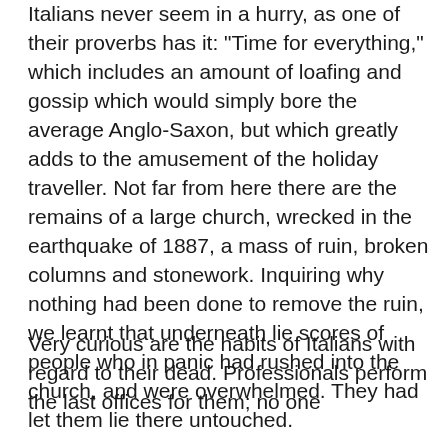Italians never seem in a hurry, as one of their proverbs has it: "Time for everything," which includes an amount of loafing and gossip which would simply bore the average Anglo-Saxon, but which greatly adds to the amusement of the holiday traveller. Not far from here there are the remains of a large church, wrecked in the earthquake of 1887, a mass of ruin, broken columns and stonework. Inquiring why nothing had been done to remove the ruin, we learnt that underneath lie scores of people who in panic had rushed into the church, and were overwhelmed. They had let them lie there untouched.
Very curious are the habits of Italians with regard to their dead. Professionals perform the last offices for them; no one close to them goes relating across the